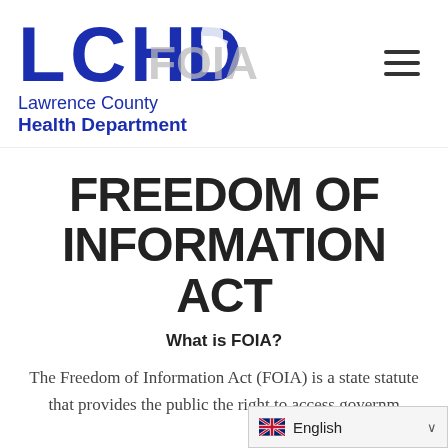[Figure (logo): LCHD Lawrence County Health Department logo with FOIA text watermark overlay]
FREEDOM OF INFORMATION ACT
What is FOIA?
The Freedom of Information Act (FOIA) is a state statute that provides the public the right to access governm...